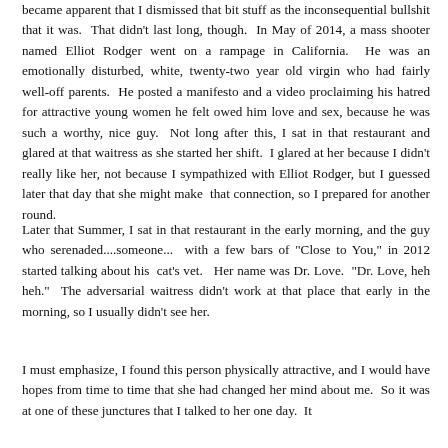became apparent that I dismissed that bit stuff as the inconsequential bullshit that it was.  That didn't last long, though.  In May of 2014, a mass shooter named Elliot Rodger went on a rampage in California.  He was an emotionally disturbed, white, twenty-two year old virgin who had fairly well-off parents.  He posted a manifesto and a video proclaiming his hatred for attractive young women he felt owed him love and sex, because he was such a worthy, nice guy.  Not long after this, I sat in that restaurant and glared at that waitress as she started her shift.  I glared at her because I didn't really like her, not because I sympathized with Elliot Rodger, but I guessed later that day that she might make  that connection, so I prepared for another round.
Later that Summer, I sat in that restaurant in the early morning, and the guy who serenaded....someone...  with a few bars of "Close to You," in 2012 started talking about his  cat's vet.   Her name was Dr. Love.  "Dr. Love, heh heh."  The adversarial waitress didn't work at that place that early in the morning, so I usually didn't see her.
I must emphasize, I found this person physically attractive, and I would have hopes from time to time that she had changed her mind about me.  So it was at one of these junctures that I talked to her one day.  It